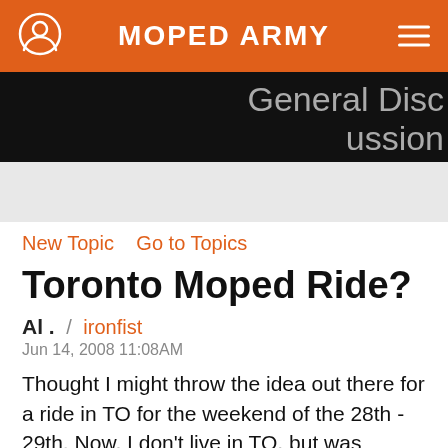MOPED ARMY
General Discussion
New Topic   Go to Topics
Toronto Moped Ride?
Al .  /  ironfist
Jun 14, 2008 11:08AM
Thought I might throw the idea out there for a ride in TO for the weekend of the 28th - 29th. Now, I don't live in TO, but was wondering if anyone might be up to the task of hosting...?